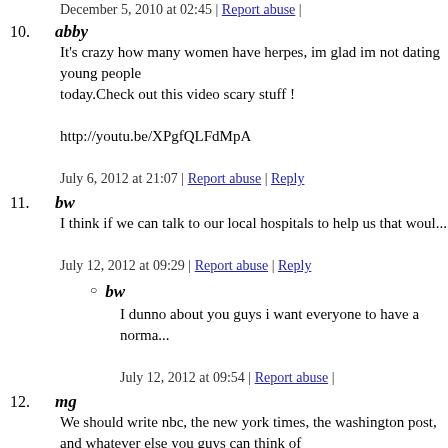December 5, 2010 at 02:45 | Report abuse |
10. abby
It's crazy how many women have herpes, im glad im not dating young people today.Check out this video scary stuff !

http://youtu.be/XPgfQLFdMpA
July 6, 2012 at 21:07 | Report abuse | Reply
11. bw
I think if we can talk to our local hospitals to help us that woul...
July 12, 2012 at 09:29 | Report abuse | Reply
bw (nested)
I dunno about you guys i want everyone to have a norma...
July 12, 2012 at 09:54 | Report abuse |
12. mg
We should write nbc, the new york times, the washington post, and whatever else you guys can think of
July 12, 2012 at 09:49 | Report abuse | Reply
Donate to help find a cure